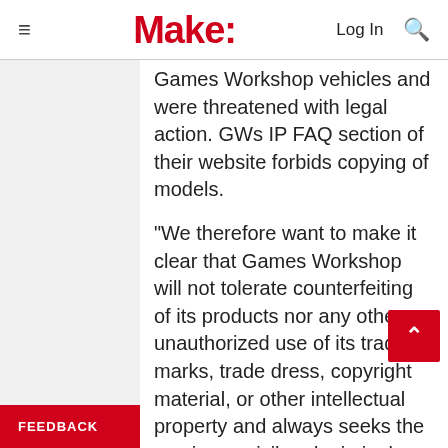Make: | Log In
Games Workshop vehicles and were threatened with legal action. GWs IP FAQ section of their website forbids copying of models.
“We therefore want to make it clear that Games Workshop will not tolerate counterfeiting of its products nor any other unauthorized use of its trade marks, trade dress, copyright material, or other intellectual property and always seeks the maximum civil and criminal penalties that the law allows.”